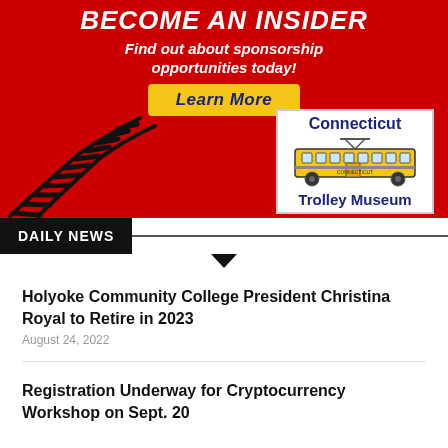[Figure (illustration): Connecticut Trolley Museum advertisement banner with red background. Says BECOME AN INSIDER, Find out about sponsorship opportunities today!, Learn More button, railway tracks illustration, and Connecticut Trolley Museum logo with yellow trolley.]
DAILY NEWS
Holyoke Community College President Christina Royal to Retire in 2023
August 24, 2022
Registration Underway for Cryptocurrency Workshop on Sept. 20